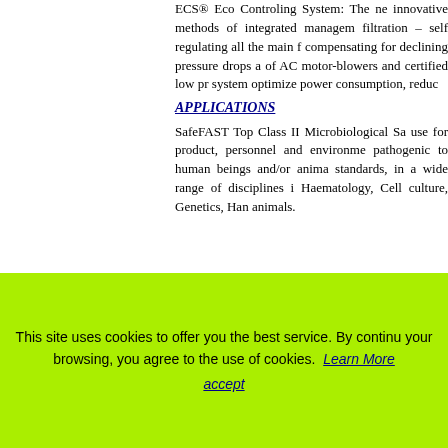ECS® Eco Controling System: The ne innovative methods of integrated managem filtration – self regulating all the main f compensating for declining pressure drops a of AC motor-blowers and certified low pr system optimize power consumption, reduc
APPLICATIONS
SafeFAST Top Class II Microbiological Sa use for product, personnel and environme pathogenic to human beings and/or anima standards, in a wide range of disciplines i Haematology, Cell culture, Genetics, Han animals.
[Figure (photo): Photo of a SafeFAST cabinet (blue and white) with a badge/label, and a dark blue panel on the right showing the SafeFAST logo and BENEFITS text]
This site uses cookies to offer you the best service. By contin your browsing, you agree to the use of cookies. Learn More accept